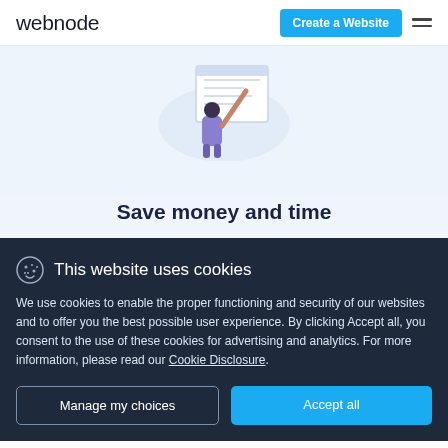webnode
[Figure (illustration): Illustration of a person standing and writing or drawing on a large whiteboard or website mockup]
Save money and time
This website uses cookies
We use cookies to enable the proper functioning and security of our websites and to offer you the best possible user experience. By clicking Accept all, you consent to the use of these cookies for advertising and analytics. For more information, please read our Cookie Disclosure.
Manage my choices
Accept all